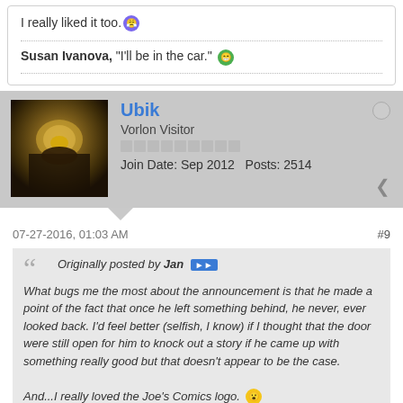I really liked it too. [emoji]
Susan Ivanova, "I'll be in the car." [emoji]
Ubik
Vorlon Visitor
Join Date: Sep 2012   Posts: 2514
07-27-2016, 01:03 AM
#9
Originally posted by Jan [forward] What bugs me the most about the announcement is that he made a point of the fact that once he left something behind, he never, ever looked back. I'd feel better (selfish, I know) if I thought that the door were still open for him to knock out a story if he came up with something really good but that doesn't appear to be the case. And...I really loved the Joe's Comics logo. [emoji]
Yes, the statement had a strange finality to it. Of course, technically